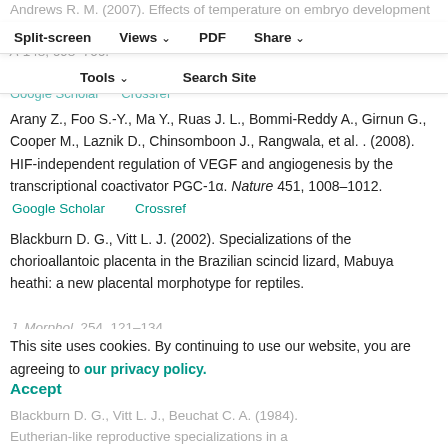Andrews R. M. (2007). Effects of temperature on embryonic development and the veil name Chamaeleo calyptratus. Comp. Biochem. Physiol. A 148, 698–706.
Split-screen | Views | PDF | Share | Tools | Search Site
Arany Z., Foo S.-Y., Ma Y., Ruas J. L., Bommi-Reddy A., Girnun G., Cooper M., Laznik D., Chinsomboon J., Rangwala, et al. . (2008). HIF-independent regulation of VEGF and angiogenesis by the transcriptional coactivator PGC-1α. Nature 451, 1008–1012.
Google Scholar    Crossref
Blackburn D. G., Vitt L. J. (2002). Specializations of the chorioallantoic placenta in the Brazilian scincid lizard, Mabuya heathi: a new placental morphotype for reptiles.
J. Morphol. 254, 121–134.
This site uses cookies. By continuing to use our website, you are agreeing to our privacy policy. Accept
Blackburn D. G., Vitt L. J., Beuchat C. A. (1984). Eutherian-like reproductive specializations in a